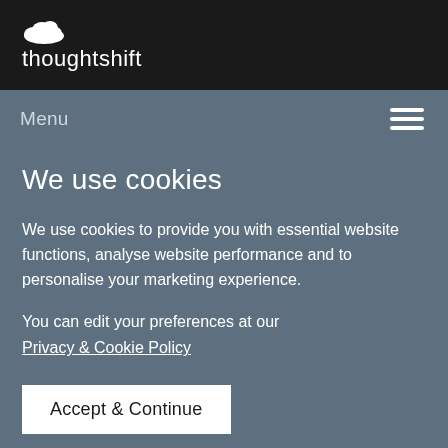[Figure (logo): Thoughtshift logo with cloud icon and white text on dark background]
Menu
We use cookies
We use cookies to provide you with essential website functions, analyse website performance and to personalise your marketing experience.
You can edit your preferences at our
Privacy & Cookie Policy
Accept & Continue